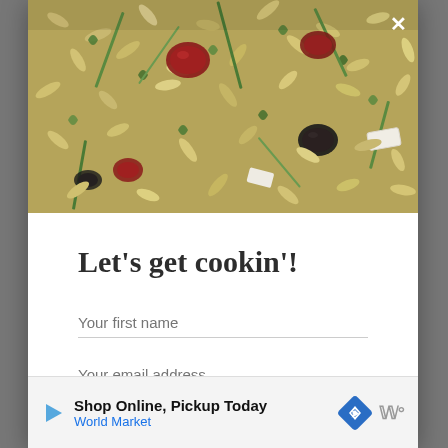[Figure (photo): Close-up photo of orzo pasta salad with cranberries, olives, herbs, and feta cheese]
Let's get cookin'!
Your first name
Your email address
Shop Online, Pickup Today
World Market